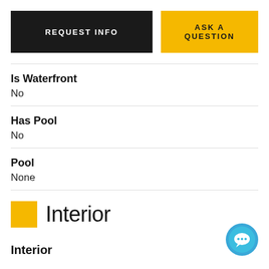[Figure (infographic): REQUEST INFO button (dark background) and ASK A QUESTION button (yellow background)]
Is Waterfront
No
Has Pool
No
Pool
None
Interior
Interior
[Figure (illustration): Blue circular chat/messaging button in bottom right corner]